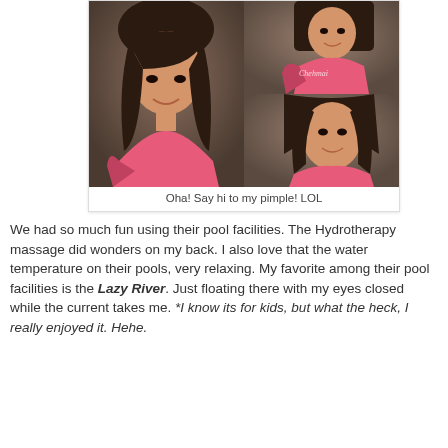[Figure (photo): Collage of three selfie photos of a young woman wearing a pink patterned top. Left: full portrait with bangs. Top-right: upper body smiling. Bottom-right: close-up face smiling. Watermark 'Chehmai' on top-right photo.]
Oha! Say hi to my pimple! LOL
We had so much fun using their pool facilities. The Hydrotherapy massage did wonders on my back. I also love that the water temperature on their pools, very relaxing. My favorite among their pool facilities is the Lazy River. Just floating there with my eyes closed while the current takes me. *I know its for kids, but what the heck, I really enjoyed it. Hehe.